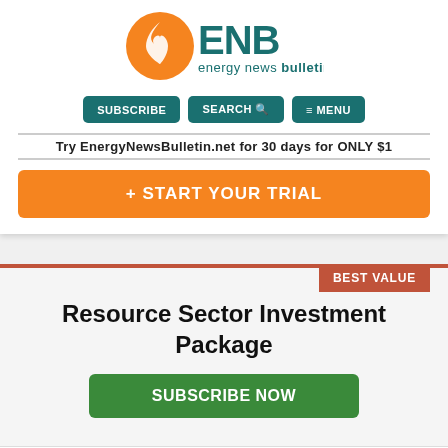[Figure (logo): ENB Energy News Bulletin logo with orange flame icon and teal text]
SUBSCRIBE  SEARCH  MENU
Try EnergyNewsBulletin.net for 30 days for ONLY $1
+ START YOUR TRIAL
BEST VALUE
Resource Sector Investment Package
SUBSCRIBE NOW
All the benefits of EnergyNewsBulletin.net